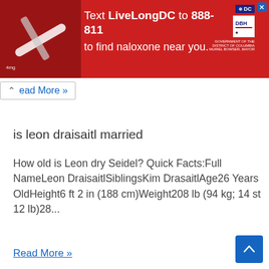[Figure (infographic): Red advertisement banner: Text LiveLongDC to 888-811 to find naloxone near you. DC and DBH logos on the right side with a close button.]
Read More »
is leon draisaitl married
How old is Leon dry Seidel? Quick Facts:Full NameLeon DraisaitlSiblingsKim DrasaitlAge26 Years OldHeight6 ft 2 in (188 cm)Weight208 lb (94 kg; 14 st 12 lb)28...
Read More »